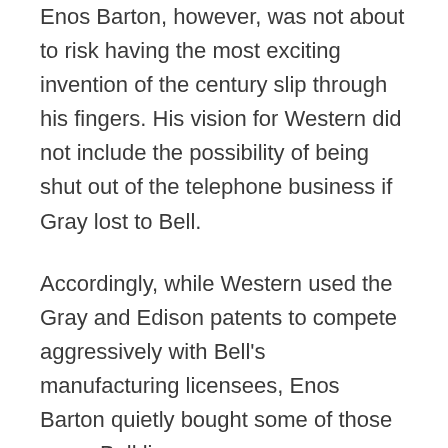Enos Barton, however, was not about to risk having the most exciting invention of the century slip through his fingers. His vision for Western did not include the possibility of being shut out of the telephone business if Gray lost to Bell.
Accordingly, while Western used the Gray and Edison patents to compete aggressively with Bell's manufacturing licensees, Enos Barton quietly bought some of those same Bell licensees.
This was Barton's insurance policy for Western. It gave the company limited access to Bell markets without giving up its support to Gray. It also allowed Western